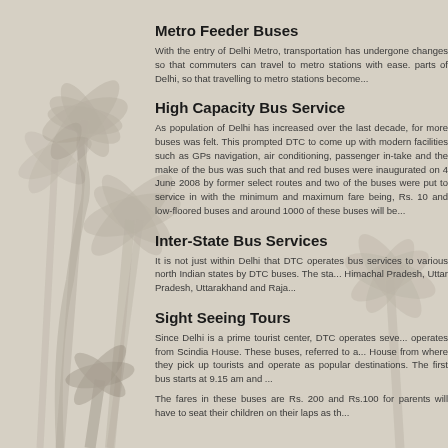Metro Feeder Buses
With the entry of Delhi Metro, transportation has undergone changes so that commuters can travel to metro stations with ease. parts of Delhi, so that travelling to metro stations become...
High Capacity Bus Service
As population of Delhi has increased over the last decade, for more buses was felt. This prompted DTC to come up with modern facilities such as GPs navigation, air conditioning, passenger in-take and the make of the bus was such that and red buses were inaugurated on 4 June 2008 by former select routes and two of the buses were put to service in with the minimum and maximum fare being, Rs. 10 and low-floored buses and around 1000 of these buses will be...
Inter-State Bus Services
It is not just within Delhi that DTC operates bus services to various north Indian states by DTC buses. The states include Himachal Pradesh, Uttar Pradesh, Uttarakhand and Rajasthan...
Sight Seeing Tours
Since Delhi is a prime tourist center, DTC operates several tours that operates from Scindia House. These buses, referred to as House from where they pick up tourists and operate as popular destinations. The first bus starts at 9.15 am and...
The fares in these buses are Rs. 200 and Rs.100 for parents will have to seat their children on their laps as the...